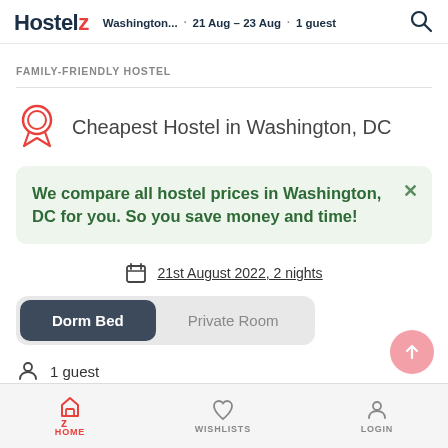Hostelz | Washington... · 21 Aug - 23 Aug · 1 guest
FAMILY-FRIENDLY HOSTEL
Cheapest Hostel in Washington, DC
We compare all hostel prices in Washington, DC for you. So you save money and time!
21st August 2022, 2 nights
Dorm Bed   Private Room
1 guest
HOME   WISHLISTS   LOGIN